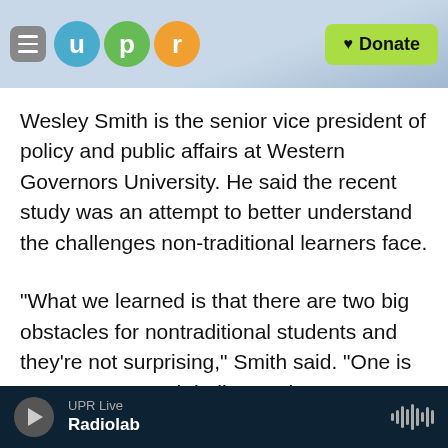[Figure (logo): UPR logo header with hamburger menu, three colored circles (u, p, r) and a green Donate button]
Wesley Smith is the senior vice president of policy and public affairs at Western Governors University. He said the recent study was an attempt to better understand the challenges non-traditional learners face.
“What we learned is that there are two big obstacles for nontraditional students and they’re not surprising,” Smith said. "One is cost, our research indicates that 89% say that cost is an
UPR Live
Radiolab